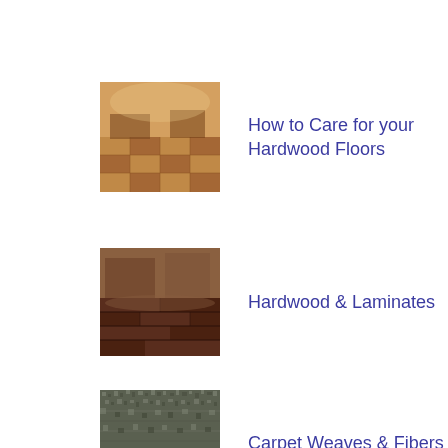[Figure (photo): Interior room with hardwood parquet flooring, warm wood tones, furniture visible in background]
How to Care for your Hardwood Floors
[Figure (photo): Room interior showing rich dark hardwood laminate flooring with furniture]
Hardwood & Laminates
[Figure (photo): Close-up swatch of dark grey/green carpet texture showing weave pattern]
Carpet Weaves & Fibers